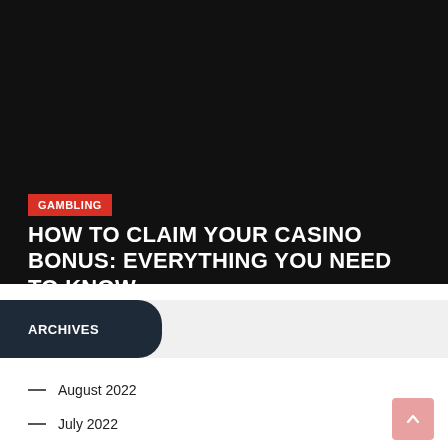[Figure (photo): Dark black hero image background for a gambling article]
GAMBLING
HOW TO CLAIM YOUR CASINO BONUS: EVERYTHING YOU NEED TO KNOW
ARCHIVES
August 2022
July 2022